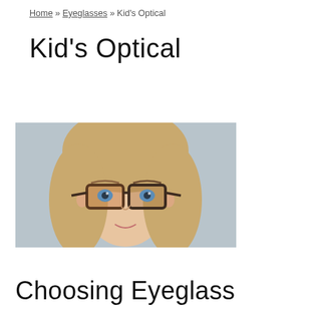Home » Eyeglasses » Kid's Optical
Kid's Optical
[Figure (photo): A young girl with long blonde hair wearing large tortoiseshell and dark-framed rectangular eyeglasses, smiling slightly, photographed against a light grey background.]
Choosing Eyeglass